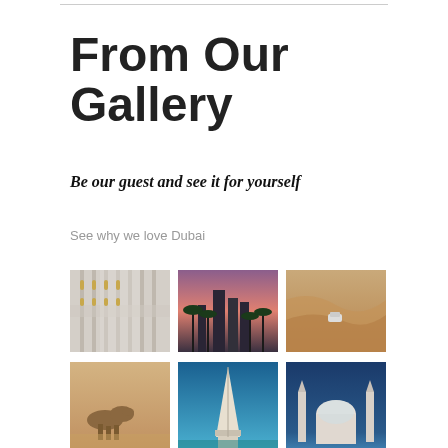From Our Gallery
Be our guest and see it for yourself
See why we love Dubai
[Figure (photo): Interior corridor of a grand mosque with ornate white and gold columns]
[Figure (photo): City skyline at dusk with palm trees and skyscrapers, pink-purple sky]
[Figure (photo): Aerial view of a car driving through sandy desert dunes]
[Figure (photo): Camels in a desert setting]
[Figure (photo): Burj Al Arab tower against a blue sky]
[Figure (photo): Mosque with minarets and blue dome at night or dusk]